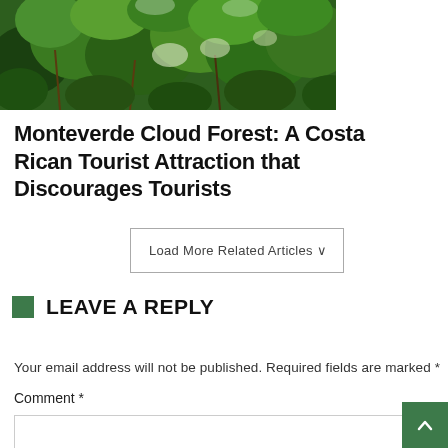[Figure (photo): Dense green tropical cloud forest vegetation with mossy plants, ferns, and foliage]
Monteverde Cloud Forest: A Costa Rican Tourist Attraction that Discourages Tourists
Load More Related Articles ∨
LEAVE A REPLY
Your email address will not be published. Required fields are marked *
Comment *